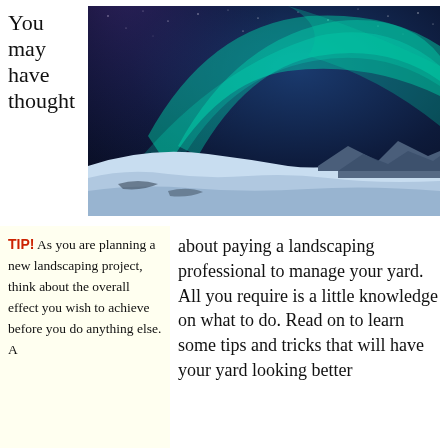You may have thought
[Figure (photo): Aurora borealis (northern lights) over a snowy landscape at night, with green and teal light streaks across a starry dark blue sky above snow-covered hills and mountains.]
TIP! As you are planning a new landscaping project, think about the overall effect you wish to achieve before you do anything else. A
about paying a landscaping professional to manage your yard. All you require is a little knowledge on what to do. Read on to learn some tips and tricks that will have your yard looking better